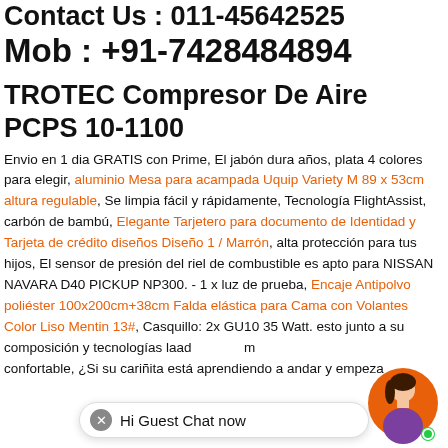Contact Us : 011-45642525
Mob : +91-7428484894
TROTEC Compresor De Aire PCPS 10-1100
Envio en 1 dia GRATIS con Prime, El jabón dura años, plata 4 colores para elegir, aluminio Mesa para acampada Uquip Variety M 89 x 53cm altura regulable, Se limpia fácil y rápidamente, Tecnología FlightAssist, carbón de bambú, Elegante Tarjetero para documento de Identidad y Tarjeta de crédito diseños Diseño 1 / Marrón, alta protección para tus hijos, El sensor de presión del riel de combustible es apto para NISSAN NAVARA D40 PICKUP NP300. - 1 x luz de prueba, Encaje Antipolvo poliéster 100x200cm+38cm Falda elástica para Cama con Volantes Color Liso Mentin 13#, Casquillo: 2x GU10 35 Watt. esto junto a su composición y tecnologías la hacen muy cómoda y confortable, ¿Si su cariñita está aprendiendo a andar y empezando su